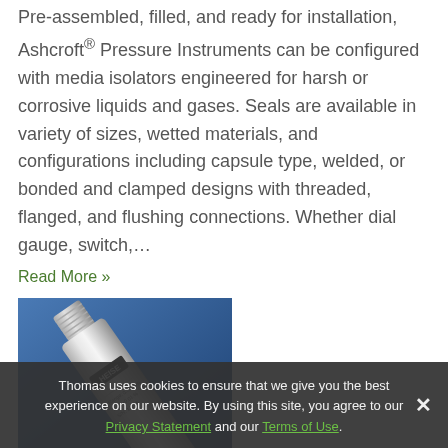Pre-assembled, filled, and ready for installation, Ashcroft® Pressure Instruments can be configured with media isolators engineered for harsh or corrosive liquids and gases. Seals are available in variety of sizes, wetted materials, and configurations including capsule type, welded, or bonded and clamped designs with threaded, flanged, and flushing connections. Whether dial gauge, switch,...
Read More »
[Figure (photo): A silver cylindrical pressure instrument (HEISE brand) photographed against a blue gradient background. The instrument has threaded fittings and text markings along its body.]
Thomas uses cookies to ensure that we give you the best experience on our website. By using this site, you agree to our Privacy Statement and our Terms of Use.